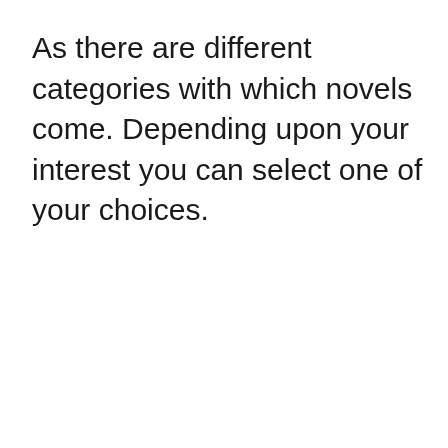As there are different categories with which novels come. Depending upon your interest you can select one of your choices.